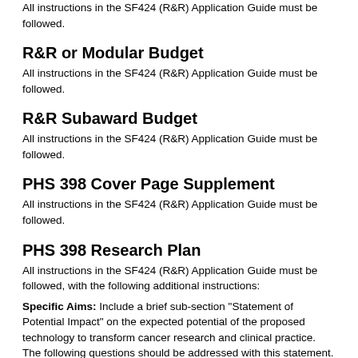All instructions in the SF424 (R&R) Application Guide must be followed.
R&R or Modular Budget
All instructions in the SF424 (R&R) Application Guide must be followed.
R&R Subaward Budget
All instructions in the SF424 (R&R) Application Guide must be followed.
PHS 398 Cover Page Supplement
All instructions in the SF424 (R&R) Application Guide must be followed.
PHS 398 Research Plan
All instructions in the SF424 (R&R) Application Guide must be followed, with the following additional instructions:
Specific Aims: Include a brief sub-section "Statement of Potential Impact" on the expected potential of the proposed technology to transform cancer research and clinical practice. The following questions should be addressed with this statement.
How is the new capability provided by the proposed technology potentially transformative and why may it be